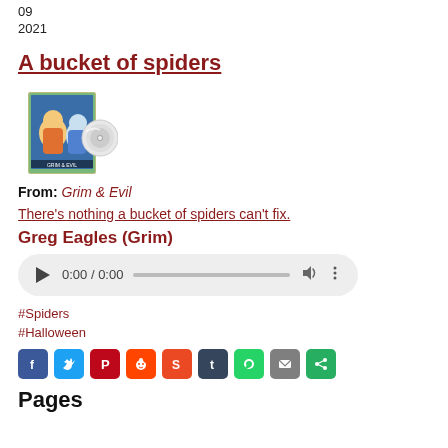09
2021
A bucket of spiders
[Figure (photo): DVD/Blu-ray case of animated cartoon with a disc next to it]
From: Grim & Evil
There's nothing a bucket of spiders can't fix.
Greg Eagles (Grim)
[Figure (other): Audio player widget showing 0:00 / 0:00]
#Spiders
#Halloween
[Figure (other): Social share icons: Facebook, Twitter, Pinterest, Reddit, StumbleUpon, Tumblr, WhatsApp, Email, Share]
Pages